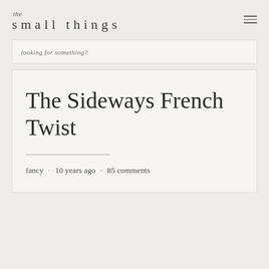the small things
looking for something?
The Sideways French Twist
fancy · 10 years ago · 85 comments